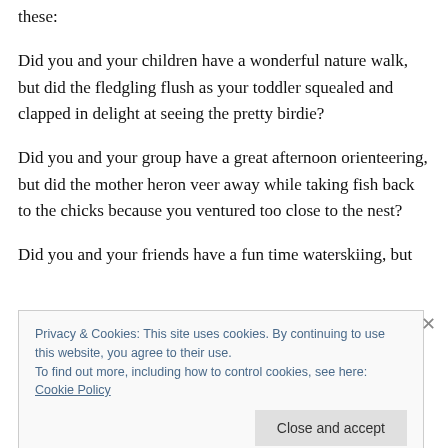these:
Did you and your children have a wonderful nature walk, but did the fledgling flush as your toddler squealed and clapped in delight at seeing the pretty birdie?
Did you and your group have a great afternoon orienteering, but did the mother heron veer away while taking fish back to the chicks because you ventured too close to the nest?
Did you and your friends have a fun time waterskiing, but
Privacy & Cookies: This site uses cookies. By continuing to use this website, you agree to their use.
To find out more, including how to control cookies, see here: Cookie Policy
Close and accept